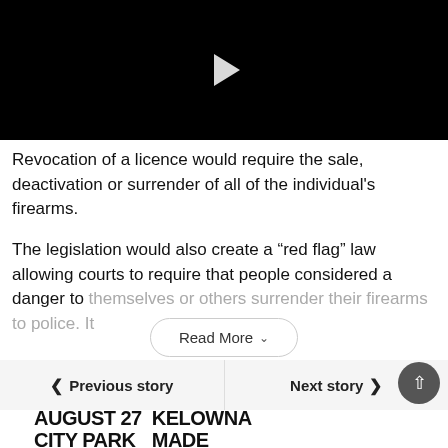[Figure (screenshot): Black video player with white play button triangle in center]
Revocation of a licence would require the sale, deactivation or surrender of all of the individual's firearms.
The legislation would also create a “red flag” law allowing courts to require that people considered a danger to themselves or others surrender their firearms to police. It
Read More
Previous story
Next story
[Figure (infographic): Advertisement banner reading AUGUST 27 CITY PARK on the left and KELOWNA MADE on the right in bold black text]